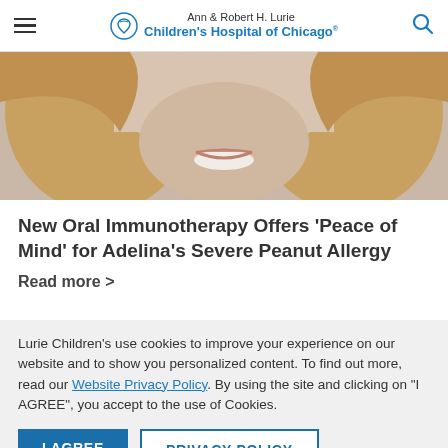Ann & Robert H. Lurie Children's Hospital of Chicago
[Figure (photo): Close-up photo of a smiling young girl with blonde hair]
New Oral Immunotherapy Offers ‘Peace of Mind’ for Adelina’s Severe Peanut Allergy
Read more >
Lurie Children’s use cookies to improve your experience on our website and to show you personalized content. To find out more, read our Website Privacy Policy. By using the site and clicking on "I AGREE", you accept to the use of Cookies.
I AGREE   PRIVACY POLICY